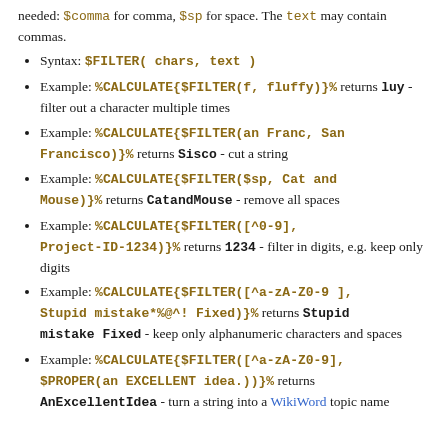needed: $comma for comma, $sp for space. The text may contain commas.
Syntax: $FILTER( chars, text )
Example: %CALCULATE{$FILTER(f, fluffy)}% returns luy - filter out a character multiple times
Example: %CALCULATE{$FILTER(an Franc, San Francisco)}% returns Sisco - cut a string
Example: %CALCULATE{$FILTER($sp, Cat and Mouse)}% returns CatandMouse - remove all spaces
Example: %CALCULATE{$FILTER([^0-9], Project-ID-1234)}% returns 1234 - filter in digits, e.g. keep only digits
Example: %CALCULATE{$FILTER([^a-zA-Z0-9 ], Stupid mistake*%@^! Fixed)}% returns Stupid mistake Fixed - keep only alphanumeric characters and spaces
Example: %CALCULATE{$FILTER([^a-zA-Z0-9], $PROPER(an EXCELLENT idea.))}% returns AnExcellentIdea - turn a string into a WikiWord topic name